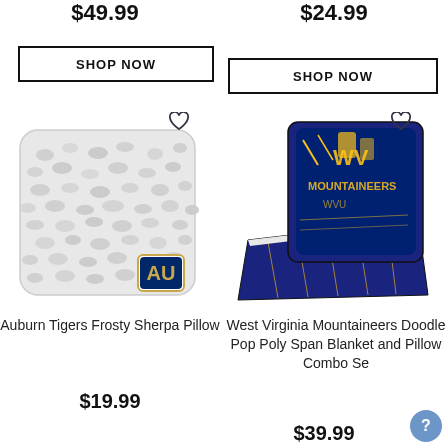$49.99
$24.99
SHOP NOW
SHOP NOW
[Figure (photo): Auburn Tigers Frosty Sherpa Pillow - a white sherpa textured pillow with Auburn AU logo patch]
[Figure (photo): West Virginia Mountaineers Doodle Pop Poly Span Blanket and Pillow Combo Set - navy blue and gold patterned pillow with matching blanket]
Auburn Tigers Frosty Sherpa Pillow
West Virginia Mountaineers Doodle Pop Poly Span Blanket and Pillow Combo Se
$19.99
$39.99